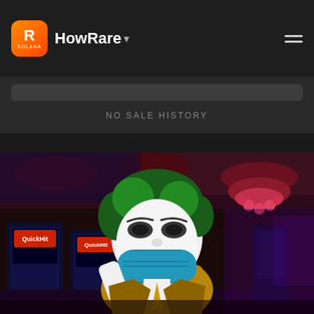HowRare
NO SALE HISTORY
[Figure (illustration): NFT artwork of a cartoon Joker-like character with green hair and a blue face mask, standing in a casino with slot machines and red chandeliers in the background]